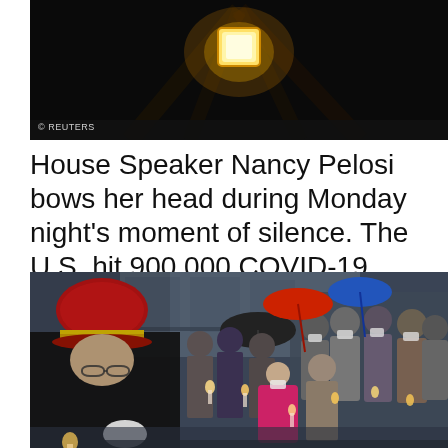[Figure (photo): Dark night sky photo showing a glowing orange/yellow lantern or light floating upward with rays of light, credited to Reuters]
House Speaker Nancy Pelosi bows her head during Monday night's moment of silence. The U.S. hit 900,000 COVID-19 deaths on Friday
[Figure (photo): Outdoor nighttime candlelight vigil scene showing a blurred military guard in red hat in foreground, with a crowd of people in masks holding candles, including a woman in a pink coat, with umbrellas (red, blue, black) and a stone building in the background]